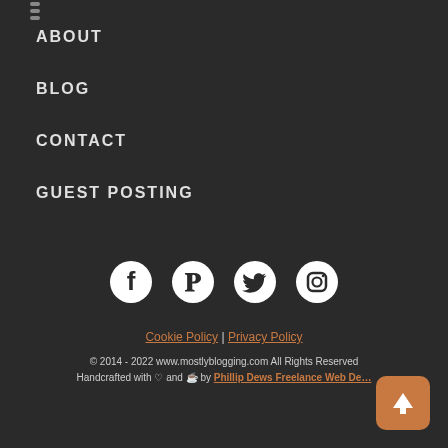ABOUT
BLOG
CONTACT
GUEST POSTING
[Figure (illustration): Social media icons: Facebook, Pinterest, Twitter, Instagram — white circle icons on dark background]
Cookie Policy | Privacy Policy
© 2014 - 2022 www.mostlyblogging.com All Rights Reserved
Handcrafted with ♡ and ☕ by Phillip Dews Freelance Web De…